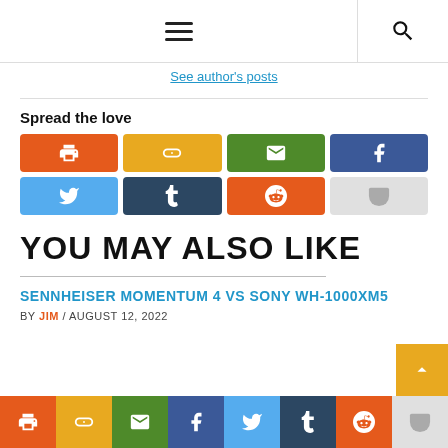Navigation header with menu and search icons
See author's posts
Spread the love
[Figure (infographic): Social share buttons: print (orange), copy link (yellow), email (green), Facebook (dark blue), Twitter (light blue), Tumblr (dark navy), Reddit (orange), Pocket (light gray)]
YOU MAY ALSO LIKE
SENNHEISER MOMENTUM 4 VS SONY WH-1000XM5
BY JIM / AUGUST 12, 2022
[Figure (infographic): Bottom share bar with icons: print, copy link, email, Facebook, Twitter, Tumblr, Reddit, Pocket]